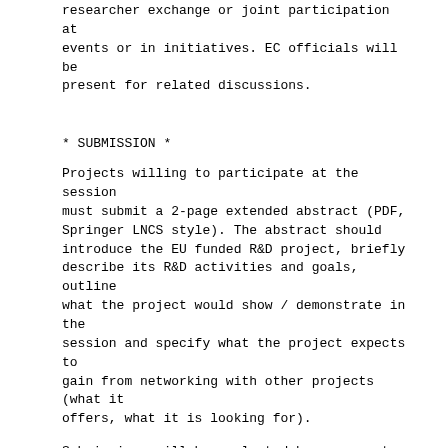researcher exchange or joint participation at events or in initiatives. EC officials will be present for related discussions.
* SUBMISSION *
Projects willing to participate at the session must submit a 2-page extended abstract (PDF, Springer LNCS style). The abstract should introduce the EU funded R&D project, briefly describe its R&D activities and goals, outline what the project would show / demonstrate in the session and specify what the project expects to gain from networking with other projects (what it offers, what it is looking for).
Submissions will be evaluated by a separate Program Committee. There will be a limited number of places for EU projects in the networking space. Decisions about acceptance will be based on relevance to ESWC2014, tangible innovation and uniqueness in the R&D activities and a clear goal to benefit from networking with other projects.
Submission will be through the Easychair system: https://www.easychair.org/conferences/?conf=eswc2014euprojects